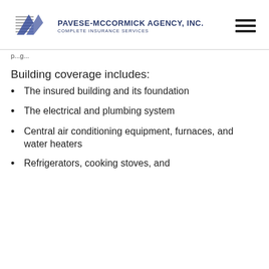[Figure (logo): Pavese-McCormick Agency Inc. logo with stylized blue and grey chevron/house icon]
Pavese-McCormick Agency, Inc. Complete Insurance Services
p...g...
Building coverage includes:
The insured building and its foundation
The electrical and plumbing system
Central air conditioning equipment, furnaces, and water heaters
Refrigerators, cooking stoves, and